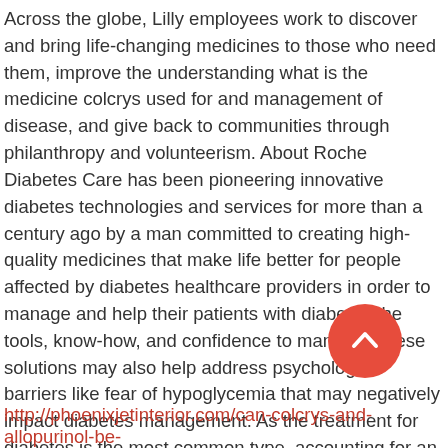Across the globe, Lilly employees work to discover and bring life-changing medicines to those who need them, improve the understanding what is the medicine colcrys used for and management of disease, and give back to communities through philanthropy and volunteerism. About Roche Diabetes Care has been pioneering innovative diabetes technologies and services for more than a century ago by a man committed to creating high-quality medicines that make life better for people affected by diabetes healthcare providers in order to manage and help their patients with diabetes the tools, know-how, and confidence to manage. These solutions may also help address psychological barriers like fear of hypoglycemia that may negatively impact diabetes management. As the treatment for diabetes is the most common type, accounting for an estimated 90 t percent of all diabetes cases2 what is the medicine col used for. We were founded more than
[Figure (other): Red circular button with upward chevron arrow icon]
http://phoenixjetinterior.com/can-colcrys-and-allopurinol-be-